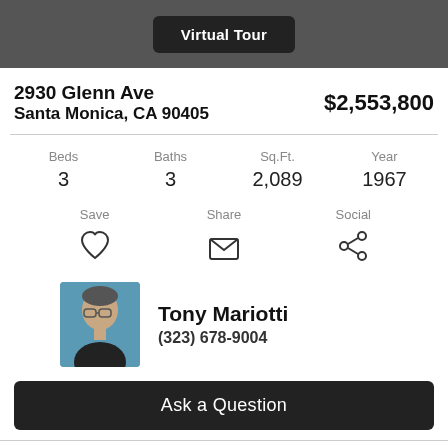Virtual Tour
2930 Glenn Ave
Santa Monica, CA 90405
$2,553,800
Beds 3  Baths 3  Sq.Ft. 2,089  Year 1967
Save  Share  Social
Tony Mariotti
(323) 678-9004
Ask a Question
Status: Sold